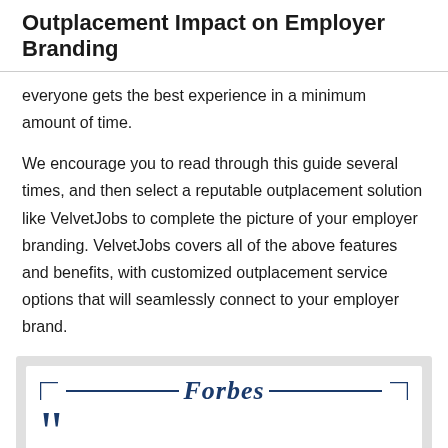Outplacement Impact on Employer Branding
everyone gets the best experience in a minimum amount of time.
We encourage you to read through this guide several times, and then select a reputable outplacement solution like VelvetJobs to complete the picture of your employer branding. VelvetJobs covers all of the above features and benefits, with customized outplacement service options that will seamlessly connect to your employer brand.
[Figure (other): Forbes quote box with decorative corner brackets, blue horizontal lines flanking the Forbes logo in italic serif font, and an opening quotation mark below.]